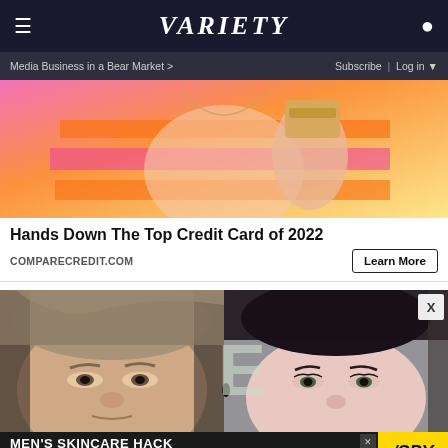VARIETY
Media Business in a Bear Market > | Subscribe | Log in
[Figure (photo): Person holding a credit card against pink and orange striped background]
Hands Down The Top Credit Card of 2022
COMPARECREDIT.COM
Learn More
[Figure (photo): Two celebrities side by side: older man with gray-brown hair on left, woman with dark pulled-back hair on right]
[Figure (photo): Bottom banner ad: MEN'S SKINCARE HACK HIDE ACNE FOR $24 with SPY logo]